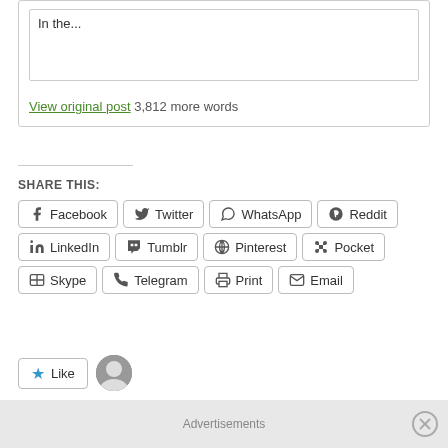In the...
View original post 3,812 more words
SHARE THIS:
Facebook  Twitter  WhatsApp  Reddit  LinkedIn  Tumblr  Pinterest  Pocket  Skype  Telegram  Print  Email
Like
One blogger likes this.
Advertisements